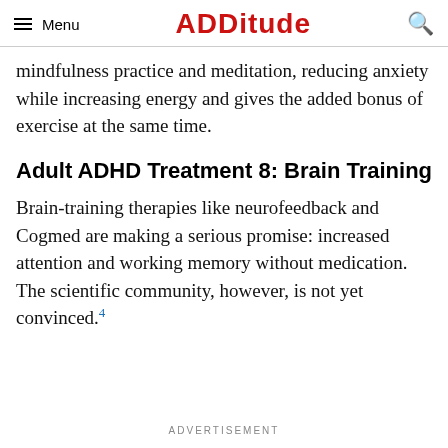Menu | ADDitude | (search icon)
mindfulness practice and meditation, reducing anxiety while increasing energy and gives the added bonus of exercise at the same time.
Adult ADHD Treatment 8: Brain Training
Brain-training therapies like neurofeedback and Cogmed are making a serious promise: increased attention and working memory without medication. The scientific community, however, is not yet convinced.4
ADVERTISEMENT